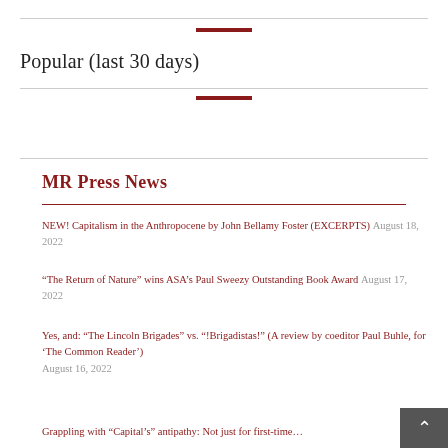Popular (last 30 days)
MR Press News
NEW! Capitalism in the Anthropocene by John Bellamy Foster (EXCERPTS) August 18, 2022
“The Return of Nature” wins ASA’s Paul Sweezy Outstanding Book Award August 17, 2022
Yes, and: “The Lincoln Brigades” vs. “!Brigadistas!” (A review by coeditor Paul Buhle, for ‘The Common Reader’) August 16, 2022
Grappling with “Capital’s” antipathy: Not just for first-time…